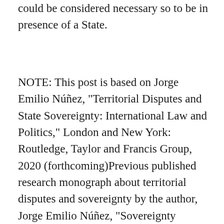could be considered necessary so to be in presence of a State.
NOTE: This post is based on Jorge Emilio Núñez, “Territorial Disputes and State Sovereignty: International Law and Politics,” London and New York: Routledge, Taylor and Francis Group, 2020 (forthcoming)Previous published research monograph about territorial disputes and sovereignty by the author, Jorge Emilio Núñez, “Sovereignty Conflicts and International Law and Politics: A Distributive Justice Issue,” London and New York: Routledge, Taylor and